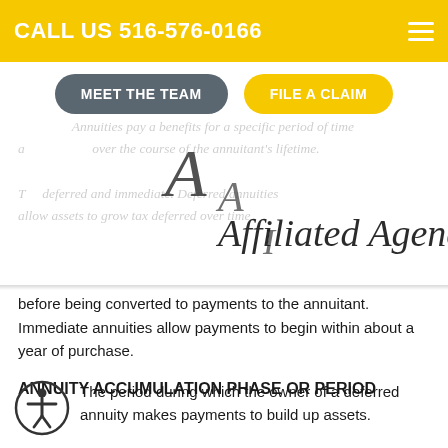CALL US 516-576-0166
[Figure (logo): Navigation buttons: 'MEET THE TEAM' (grey rounded) and 'FILE A CLAIM' (yellow rounded)]
[Figure (logo): Affiliated Agency, Inc. handwritten script logo overlaid on faded italic annuity description text]
before being converted to payments to the annuitant. Immediate annuities allow payments to begin within about a year of purchase.
ANNUITY ACCUMULATION PHASE OR PERIOD
The period during which the owner of a deferred annuity makes payments to build up assets.